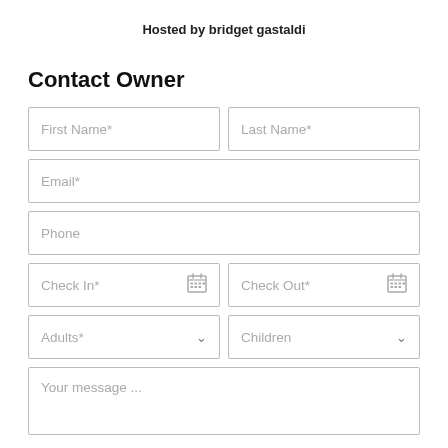Hosted by bridget gastaldi
Contact Owner
First Name*
Last Name*
Email*
Phone
Check In*
Check Out*
Adults*
Children
Your message ...